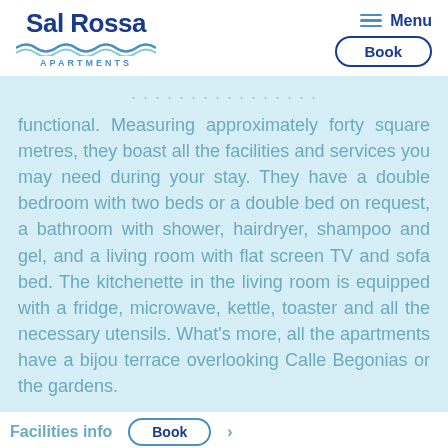[Figure (logo): Sal Rossa Apartments logo with blue text and teal wave graphic]
Menu | Book
functional. Measuring approximately forty square metres, they boast all the facilities and services you may need during your stay. They have a double bedroom with two beds or a double bed on request, a bathroom with shower, hairdryer, shampoo and gel, and a living room with flat screen TV and sofa bed. The kitchenette in the living room is equipped with a fridge, microwave, kettle, toaster and all the necessary utensils. What's more, all the apartments have a bijou terrace overlooking Calle Begonias or the gardens.